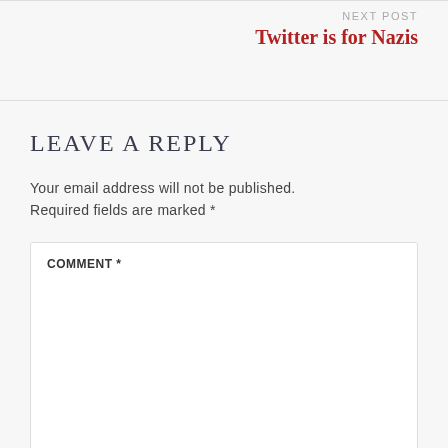NEXT POST
Twitter is for Nazis
LEAVE A REPLY
Your email address will not be published. Required fields are marked *
COMMENT *